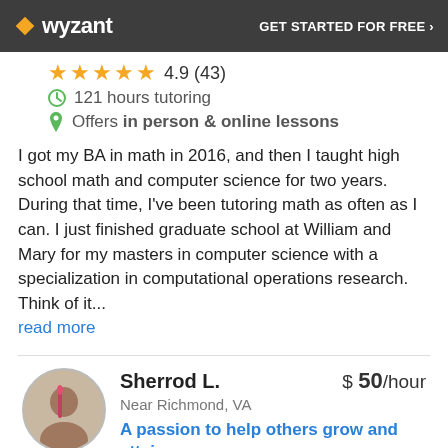wyzant | GET STARTED FOR FREE ›
4.9 (43)
121 hours tutoring
Offers in person & online lessons
I got my BA in math in 2016, and then I taught high school math and computer science for two years. During that time, I've been tutoring math as often as I can. I just finished graduate school at William and Mary for my masters in computer science with a specialization in computational operations research. Think of it... read more
Sherrod L. | $50/hour | Near Richmond, VA
A passion to help others grow and attain success
5.0 (2)